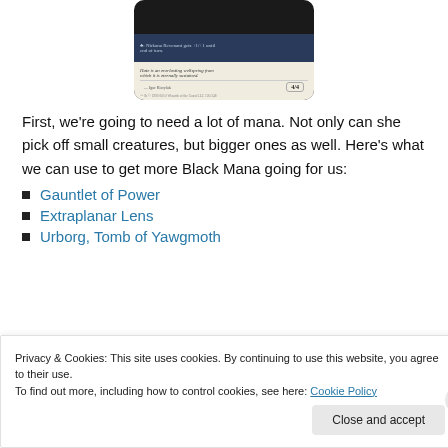[Figure (illustration): Bottom portion of a Magic: The Gathering card (Nirkana Revenant). Shows rules text: '+1/+1 until end of turn.' and flavor text in italics 'Hate is an everlasting wellspring from which it is eternally sustained.' Artist credit: Igor Kieryluk. Power/toughness: 4/4.]
First, we’re going to need a lot of mana. Not only can she pick off small creatures, but bigger ones as well. Here’s what we can use to get more Black Mana going for us:
Gauntlet of Power
Extraplanar Lens
Urborg, Tomb of Yawgmoth
Privacy & Cookies: This site uses cookies. By continuing to use this website, you agree to their use. To find out more, including how to control cookies, see here: Cookie Policy